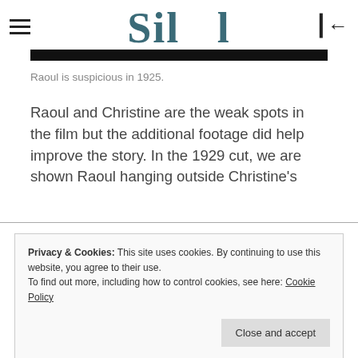Sil [logo partial]
[Figure (screenshot): Black bar image strip below logo]
Raoul is suspicious in 1925.
Raoul and Christine are the weak spots in the film but the additional footage did help improve the story. In the 1929 cut, we are shown Raoul hanging outside Christine's
Privacy & Cookies: This site uses cookies. By continuing to use this website, you agree to their use.
To find out more, including how to control cookies, see here: Cookie Policy
Close and accept
that the word action alone was this